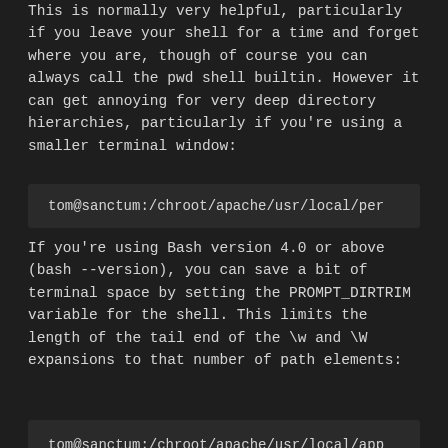This is normally very helpful, particularly if you leave your shell for a time and forget where you are, though of course you can always call the pwd shell builtin. However it can get annoying for very deep directory hierarchies, particularly if you're using a smaller terminal window:
[Figure (screenshot): Terminal prompt showing tom@sanctum:/chroot/apache/usr/local/per]
If you're using Bash version 4.0 or above (bash --version), you can save a bit of terminal space by setting the PROMPT_DIRTRIM variable for the shell. This limits the length of the tail end of the \w and \W expansions to that number of path elements:
[Figure (screenshot): Terminal showing two prompts: tom@sanctum:/chroot/apache/usr/local/app and tom@sanctum:.../App/Library/Class$]
This is a good thing to include in your ~/.bashrc file if you often find yourself deep in directory trees where the upper end of the hierarchy isn't of immediate interest to